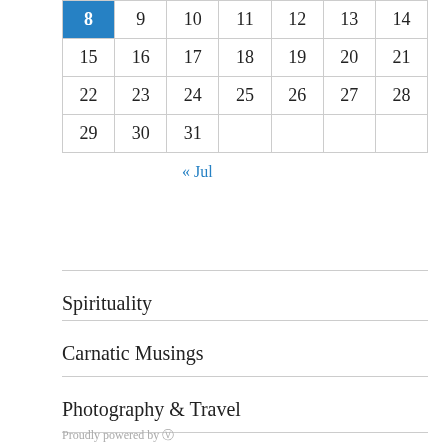| 8 | 9 | 10 | 11 | 12 | 13 | 14 |
| 15 | 16 | 17 | 18 | 19 | 20 | 21 |
| 22 | 23 | 24 | 25 | 26 | 27 | 28 |
| 29 | 30 | 31 |  |  |  |  |
« Jul
Spirituality
Carnatic Musings
Photography & Travel